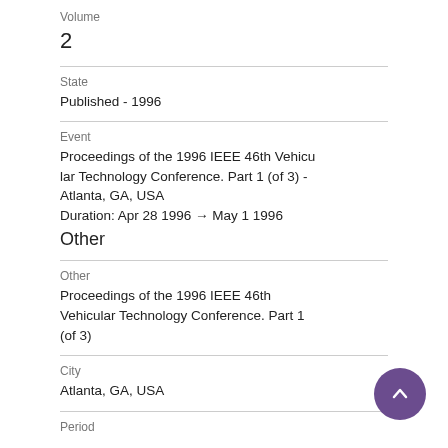Volume
2
State
Published - 1996
Event
Proceedings of the 1996 IEEE 46th Vehicular Technology Conference. Part 1 (of 3) - Atlanta, GA, USA
Duration: Apr 28 1996 → May 1 1996
Other
Other
Proceedings of the 1996 IEEE 46th Vehicular Technology Conference. Part 1 (of 3)
City
Atlanta, GA, USA
Period